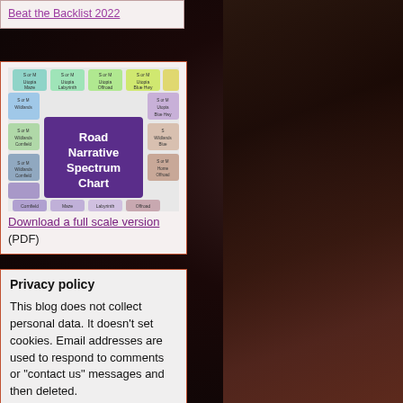Beat the Backlist 2022
[Figure (infographic): Road Narrative Spectrum Chart showing hexagonal grid with categories like Utopia Maze, Utopia Labyrinth, Utopia Offroad, Utopia Blue Hwy, Wildlands, Cornfield, Maze, Labyrinth, Offroad]
Download a full scale version (PDF)
Privacy policy
This blog does not collect personal data. It doesn't set cookies. Email addresses are used to respond to comments or "contact us" messages and then deleted.